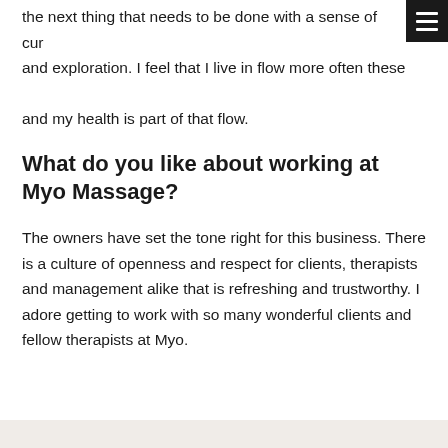the next thing that needs to be done with a sense of curiosity and exploration. I feel that I live in flow more often these days and my health is part of that flow.
What do you like about working at Myo Massage?
The owners have set the tone right for this business. There is a culture of openness and respect for clients, therapists and management alike that is refreshing and trustworthy. I adore getting to work with so many wonderful clients and fellow therapists at Myo.